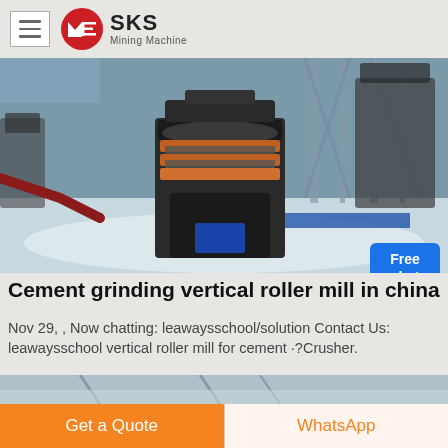[Figure (logo): SKS Mining Machine logo with red circle emblem and hamburger menu icon]
[Figure (photo): Industrial mining machine (vertical roller mill) in a large factory/warehouse setting with white aggregate on floor, red and blue pipes visible]
Cement grinding vertical roller mill in china
Nov 29, , Now chatting: leawaysschool/solution Contact Us: leawaysschool vertical roller mill for cement ·?Crusher.
[Figure (photo): Partial view of second industrial image showing warehouse interior with equipment]
Get a Quote
WhatsApp